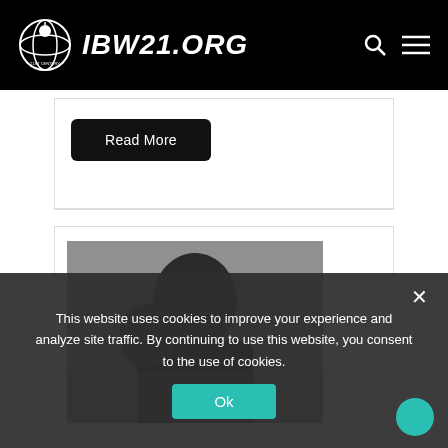IBW21.ORG
Read More
[Figure (photo): Black and white photograph of a person wearing glasses, close-up portrait]
This website uses cookies to improve your experience and analyze site traffic. By continuing to use this website, you consent to the use of cookies.
Ok